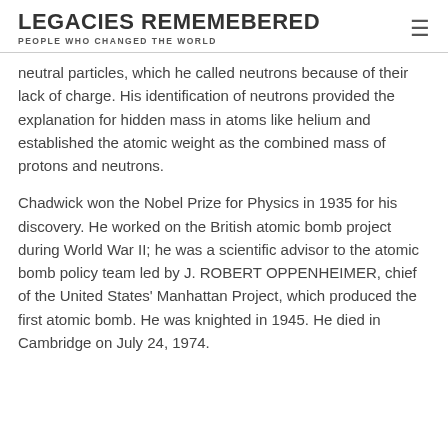LEGACIES REMEMEBERED
PEOPLE WHO CHANGED THE WORLD
neutral particles, which he called neutrons because of their lack of charge. His identification of neutrons provided the explanation for hidden mass in atoms like helium and established the atomic weight as the combined mass of protons and neutrons.
Chadwick won the Nobel Prize for Physics in 1935 for his discovery. He worked on the British atomic bomb project during World War II; he was a scientific advisor to the atomic bomb policy team led by J. ROBERT OPPENHEIMER, chief of the United States' Manhattan Project, which produced the first atomic bomb. He was knighted in 1945. He died in Cambridge on July 24, 1974.